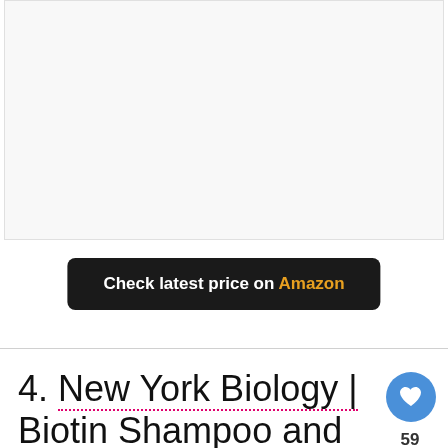[Figure (other): Light gray placeholder box representing a product image area]
Check latest price on Amazon
4. New York Biology | Biotin Shampoo and Conditioner
[Figure (photo): Two black pump dispenser bottles (shampoo and conditioner) on a blue background, with a What's Next widget showing '14 Best Shampoos f...']